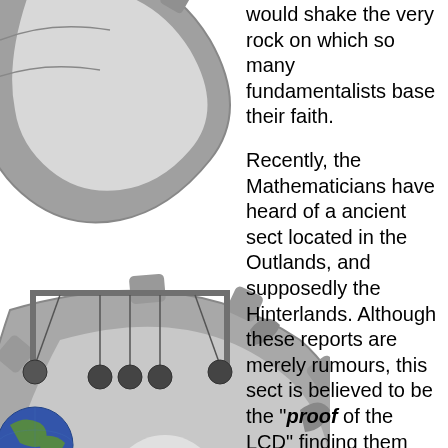[Figure (illustration): 3D rendered stone/metal sigil or symbol with gear-like circular design with claw/tooth shapes, and a Newton's cradle or pendulum device with metal spheres hanging on strings. Also a small globe or planet visible at bottom left corner.]
would shake the very rock on which so many fundamentalists base their faith.
Recently, the Mathematicians have heard of a ancient sect located in the Outlands, and supposedly the Hinterlands. Although these reports are merely rumours, this sect is believed to be the "proof of the LCD" finding them would be to find the proof...you see on the planes abstract concepts are physical reality.